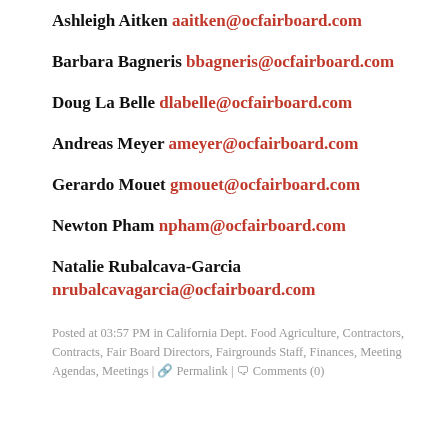Ashleigh Aitken aaitken@ocfairboard.com
Barbara Bagneris bbagneris@ocfairboard.com
Doug La Belle dlabelle@ocfairboard.com
Andreas Meyer ameyer@ocfairboard.com
Gerardo Mouet gmouet@ocfairboard.com
Newton Pham npham@ocfairboard.com
Natalie Rubalcava-Garcia nrubalcavagarcia@ocfairboard.com
Posted at 03:57 PM in California Dept. Food Agriculture, Contractors, Contracts, Fair Board Directors, Fairgrounds Staff, Finances, Meeting Agendas, Meetings | ⚲ Permalink | ○ Comments (0)